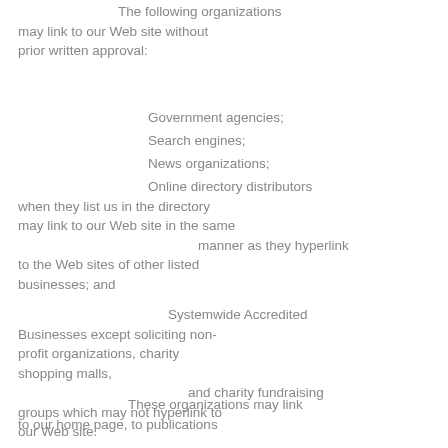The following organizations may link to our Web site without prior written approval:
Government agencies;
Search engines;
News organizations;
Online directory distributors when they list us in the directory may link to our Web site in the same manner as they hyperlink to the Web sites of other listed businesses; and
Systemwide Accredited Businesses except soliciting non-profit organizations, charity shopping malls, and charity fundraising groups which may not hyperlink to our Web site.
These organizations may link to our home page, to publications